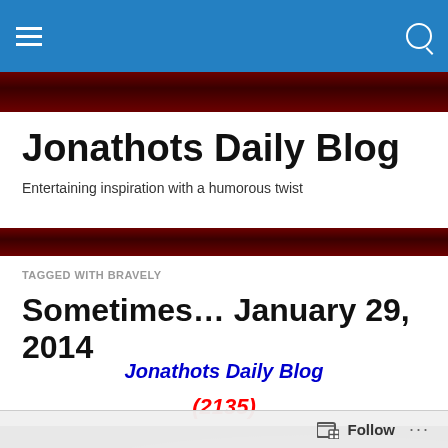Navigation bar with hamburger menu and search icon
[Figure (illustration): Dark red textured decorative banner strip at top of content area]
Jonathots Daily Blog
Entertaining inspiration with a humorous twist
[Figure (illustration): Dark red textured decorative banner strip below subtitle]
TAGGED WITH BRAVELY
Sometimes… January 29, 2014
Jonathots Daily Blog
(2135)
[Figure (photo): Dark photograph, partially visible at bottom of page]
Follow ...